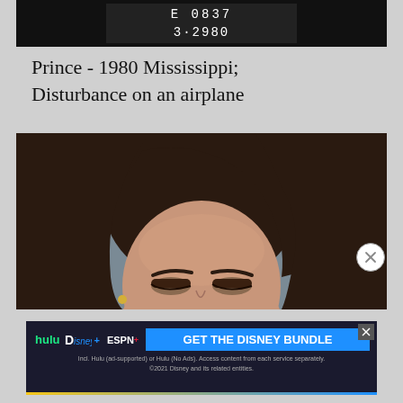[Figure (photo): Top portion of a black and white mugshot booking photo showing numbers '3-2980' at the bottom]
Prince - 1980 Mississippi; Disturbance on an airplane
[Figure (photo): Mugshot photo of a young woman with dark hair, eyes downcast, against a grey background]
[Figure (other): Disney Bundle advertisement: hulu, Disney+, ESPN+ - GET THE DISNEY BUNDLE. Incl. Hulu (ad-supported) or Hulu (No Ads). Access content from each service separately. ©2021 Disney and its related entities.]